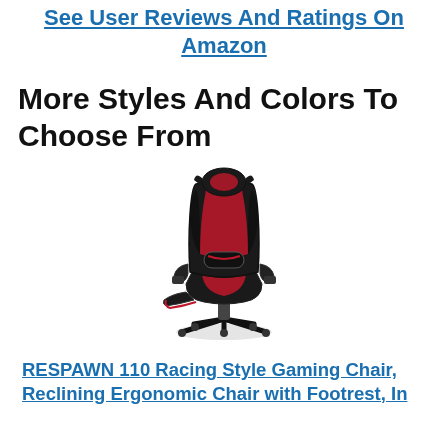See User Reviews And Ratings On Amazon
More Styles And Colors To Choose From
[Figure (photo): Photo of a RESPAWN 110 Racing Style Gaming Chair in black and red with footrest extended, viewed from a front-side angle.]
RESPAWN 110 Racing Style Gaming Chair, Reclining Ergonomic Chair with Footrest, In